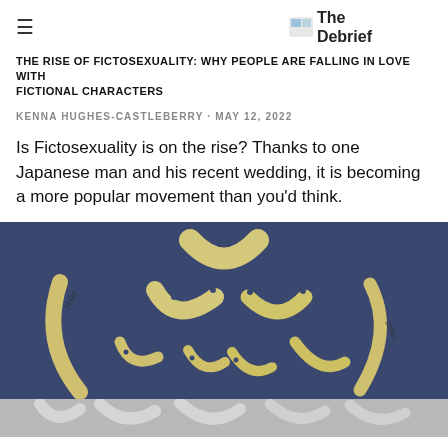The Debrief
THE RISE OF FICTOSEXUALITY: WHY PEOPLE ARE FALLING IN LOVE WITH FICTIONAL CHARACTERS
KENNA HUGHES-CASTLEBERRY · MAY 12, 2022
Is Fictosexuality is on the rise? Thanks to one Japanese man and his recent wedding, it is becoming a more popular movement than you'd think.
[Figure (photo): Photograph of multiple curved ivory or bone crescent-shaped objects arranged on a dark blue background. The objects vary in size and some have small holes and handwritten labels/numbers on them. Below the photo is a lighter grey strip showing white crescent shapes.]